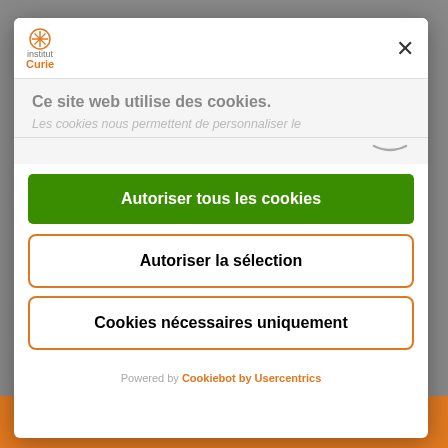[Figure (screenshot): Institut Curie logo with orange circular icon and text]
Ce site web utilise des cookies.
Les cookies nous permettent de personnaliser le
Autoriser tous les cookies
Autoriser la sélection
Cookies nécessaires uniquement
Powered by Cookiebot by Usercentrics